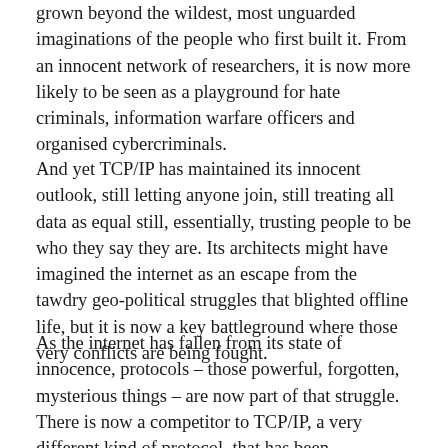grown beyond the wildest, most unguarded imaginations of the people who first built it. From an innocent network of researchers, it is now more likely to be seen as a playground for hate criminals, information warfare officers and organised cybercriminals.
And yet TCP/IP has maintained its innocent outlook, still letting anyone join, still treating all data as equal still, essentially, trusting people to be who they say they are. Its architects might have imagined the internet as an escape from the tawdry geo-political struggles that blighted offline life, but it is now a key battleground where those very conflicts are being fought.
As the internet has fallen from its state of innocence, protocols – those powerful, forgotten, mysterious things – are now part of that struggle. There is now a competitor to TCP/IP, a very different kind of protocol, that has been